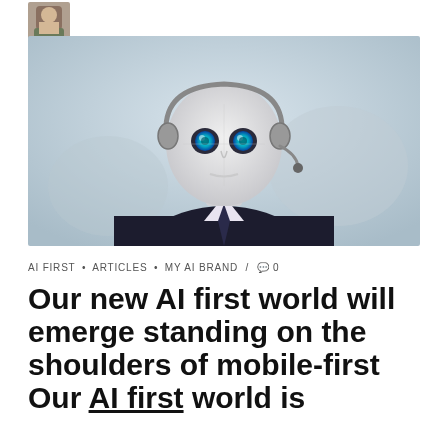[Figure (photo): Small avatar/profile photo of a person in military or casual attire, top-left corner]
[Figure (photo): AI humanoid robot with glowing blue eyes, wearing a headset and business suit, close-up portrait image with blurred background]
AI FIRST • ARTICLES • MY AI BRAND / 🗨 0
Our new AI first world will emerge standing on the shoulders of mobile-first Our AI first world is